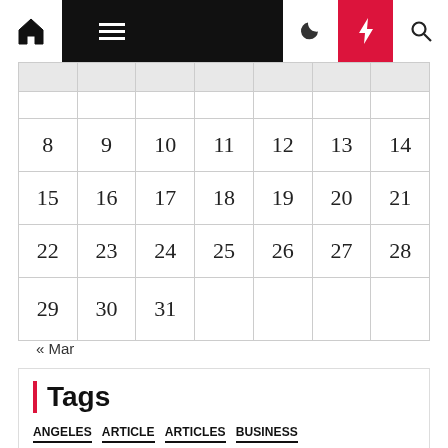Navigation bar with home, menu, moon, bolt, search icons
|  |  |  |  |  |  |  |
| --- | --- | --- | --- | --- | --- | --- |
| 1 | 2 | 3 | 4 | 5 | 6 | 7 |
| 8 | 9 | 10 | 11 | 12 | 13 | 14 |
| 15 | 16 | 17 | 18 | 19 | 20 | 21 |
| 22 | 23 | 24 | 25 | 26 | 27 | 28 |
| 29 | 30 | 31 |  |  |  |  |
« Mar
Tags
ANGELES
ARTICLE
ARTICLES
BUSINESS
CALIFORNIA
CARE
CENTER
COMPUTER